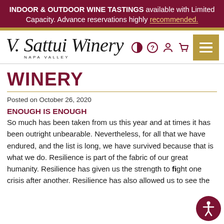INDOOR & OUTDOOR WINE TASTINGS available with Limited Capacity. Advance reservations highly recommended.
[Figure (logo): V. Sattui Winery Napa Valley logo with navigation icons and hamburger menu]
WINERY
Posted on October 26, 2020
ENOUGH IS ENOUGH
So much has been taken from us this year and at times it has been outright unbearable. Nevertheless, for all that we have endured, and the list is long, we have survived because that is what we do. Resilience is part of the fabric of our great humanity. Resilience has given us the strength to fight one crisis after another. Resilience has also allowed us to see the